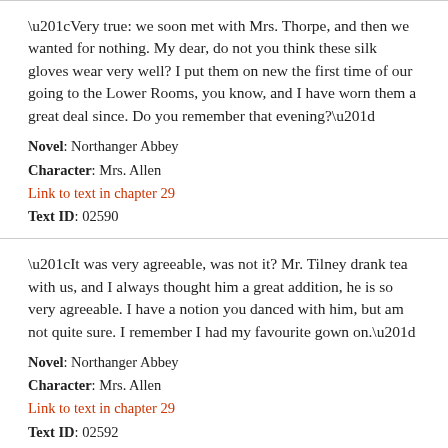“Very true: we soon met with Mrs. Thorpe, and then we wanted for nothing. My dear, do not you think these silk gloves wear very well? I put them on new the first time of our going to the Lower Rooms, you know, and I have worn them a great deal since. Do you remember that evening?”
Novel: Northanger Abbey
Character: Mrs. Allen
Link to text in chapter 29
Text ID: 02590
“It was very agreeable, was not it? Mr. Tilney drank tea with us, and I always thought him a great addition, he is so very agreeable. I have a notion you danced with him, but am not quite sure. I remember I had my favourite gown on.”
Novel: Northanger Abbey
Character: Mrs. Allen
Link to text in chapter 29
Text ID: 02592
“I really have not patience with the general! Such an agreeable